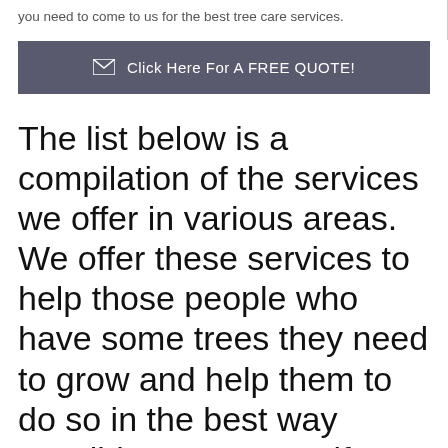you need to come to us for the best tree care services.
[Figure (other): Call-to-action button with envelope icon reading 'Click Here For A FREE QUOTE!']
The list below is a compilation of the services we offer in various areas. We offer these services to help those people who have some trees they need to grow and help them to do so in the best way possible. Contact us if you need any of these